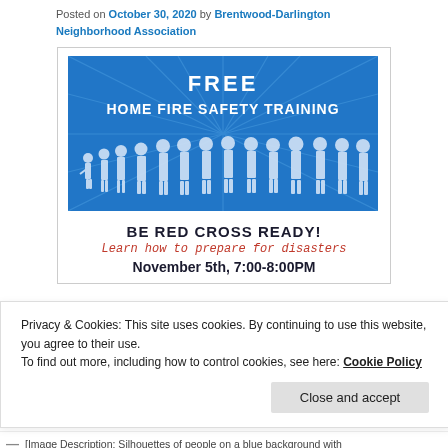Posted on October 30, 2020 by Brentwood-Darlington Neighborhood Association
[Figure (illustration): A flyer for Free Home Fire Safety Training. Blue background with white sunburst rays and white silhouettes of people. Text reads: FREE HOME FIRE SAFETY TRAINING. Below the image: BE RED CROSS READY! Learn how to prepare for disasters. November 5th, 7:00-8:00PM]
Privacy & Cookies: This site uses cookies. By continuing to use this website, you agree to their use.
To find out more, including how to control cookies, see here: Cookie Policy
Close and accept
— [Image Description: Silhouettes of people on a blue background with